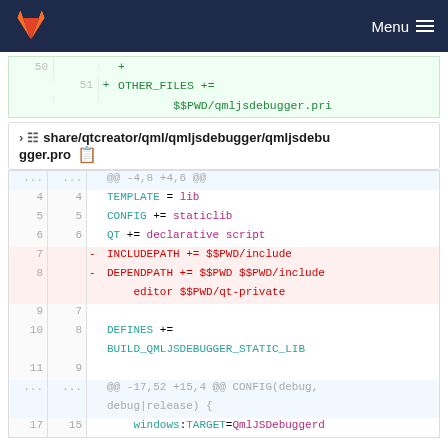GitLab navigation bar with Menu
50 +
51 + OTHER_FILES +=
   $$PWD/qmljsdebugger.pri
share/qtcreator/qml/qmljsdebugger/qmljsdebugger.pro
| old line | new line | sign | code |
| --- | --- | --- | --- |
| ... | ... |  | @@ -4,8 +4,6 @@ |
| 4 | 4 |  | TEMPLATE = lib |
| 5 | 5 |  | CONFIG += staticlib |
| 6 | 6 |  | QT += declarative script |
| 7 |  | - | INCLUDEPATH += $$PWD/include |
| 8 |  | - | DEPENDPATH += $$PWD $$PWD/include editor $$PWD/qt-private |
| 9 | 7 |  |  |
| 10 | 8 |  | DEFINES +=
BUILD_QMLJSDEBUGGER_STATIC_LIB |
| 11 | 9 |  |  |
| ... | ... |  | @@ -17,52 +15,4 @@ CONFIG(debug, debug|release) { |
| 17 | 15 |  | windows:TARGET=QmlJSDebuggerd |